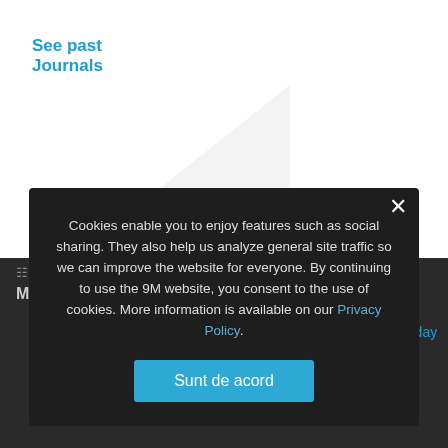See past Journals
Support 9Marks
Our work is possible by the generosity of our readers. Give Today
More Articles
The Church: Universal and Local
By Jonathan Leeman
Why Our Church Moved from Elder Rule Policy to Elder-
Cookies enable you to enjoy features such as social sharing. They also help us analyze general site traffic so we can improve the website for everyone. By continuing to use the 9M website, you consent to the use of cookies. More information is available on our Privacy Policy.
Sunt de acord